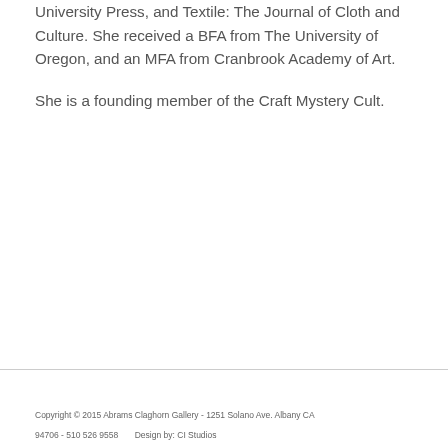University Press, and Textile: The Journal of Cloth and Culture. She received a BFA from The University of Oregon, and an MFA from Cranbrook Academy of Art.
She is a founding member of the Craft Mystery Cult.
Copyright © 2015 Abrams Claghorn Gallery - 1251 Solano Ave. Albany CA 94706 - 510 526 9558      Design by: CI Studios